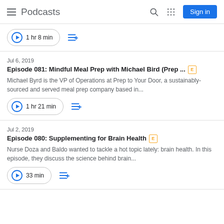Podcasts
1 hr 8 min
Jul 6, 2019
Episode 081: Mindful Meal Prep with Michael Bird (Prep ... [E]
Michael Byrd is the VP of Operations at Prep to Your Door, a sustainably-sourced and served meal prep company based in...
1 hr 21 min
Jul 2, 2019
Episode 080: Supplementing for Brain Health [E]
Nurse Doza and Baldo wanted to tackle a hot topic lately: brain health. In this episode, they discuss the science behind brain...
33 min